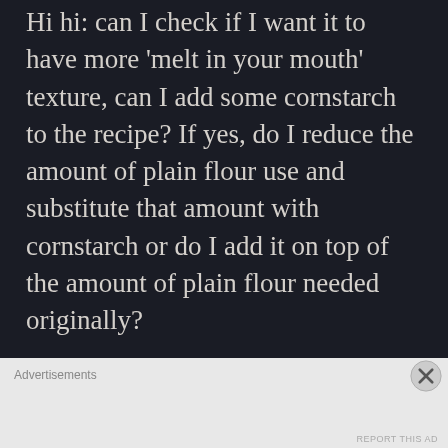Hi hi: can I check if I want it to have more 'melt in your mouth' texture, can I add some cornstarch to the recipe? If yes, do I reduce the amount of plain flour use and substitute that amount with cornstarch or do I add it on top of the amount of plain flour needed originally?

Also, can I freeze the dough for a while so that I can better cut it into shapes with a cookie cutter?

Lastly, am I able to make it a
Advertisements